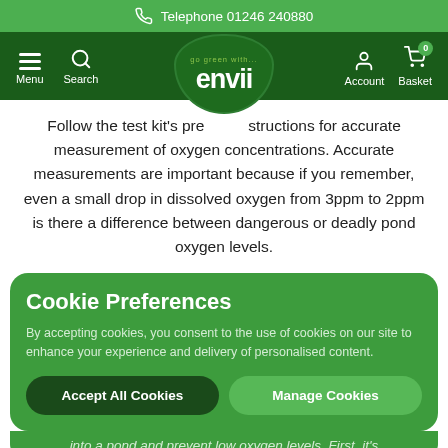Telephone 01246 240880
[Figure (screenshot): Envii website navigation bar with menu, search, logo, account and basket icons]
Follow the test kit's precise instructions for accurate measurement of oxygen concentrations. Accurate measurements are important because if you remember, even a small drop in dissolved oxygen from 3ppm to 2ppm is there a difference between dangerous or deadly pond oxygen levels.
Cookie Preferences
By accepting cookies, you consent to the use of cookies on our site to enhance your experience and delivery of personalised content.
Accept All Cookies
Manage Cookies
into a pond and prevent low oxygen levels. First, it's